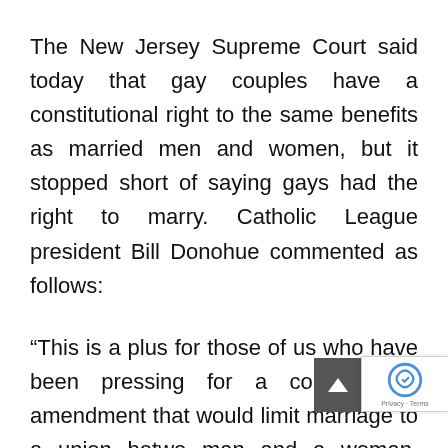The New Jersey Supreme Court said today that gay couples have a constitutional right to the same benefits as married men and women, but it stopped short of saying gays had the right to marry. Catholic League president Bill Donohue commented as follows:
“This is a plus for those of us who have been pressing for a constitutional amendment that would limit marriage to a union betwe man and a woman. Indeed, this is a wa call to the vast majority of Americans who